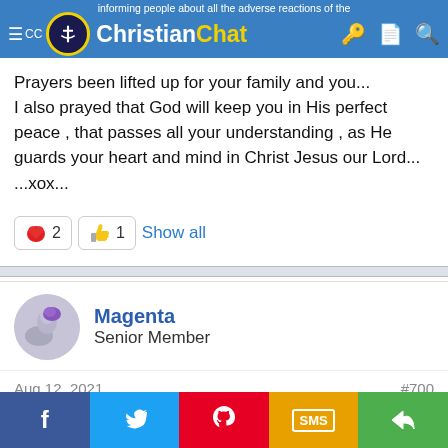informing people about all the adverse reactions of the | Christian Chat
Prayers been lifted up for your family and you...
I also prayed that God will keep you in His perfect peace , that passes all your understanding , as He guards your heart and mind in Christ Jesus our Lord...
...xox...
❤ 2  👍 1  Show all
Magenta
Senior Member
Aug 12, 2021  #700